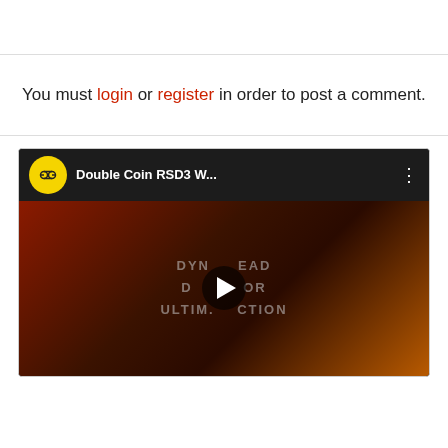You must login or register in order to post a comment.
[Figure (screenshot): YouTube video embed thumbnail showing Double Coin RSD3 W... video with play button overlay and tire tread background image]